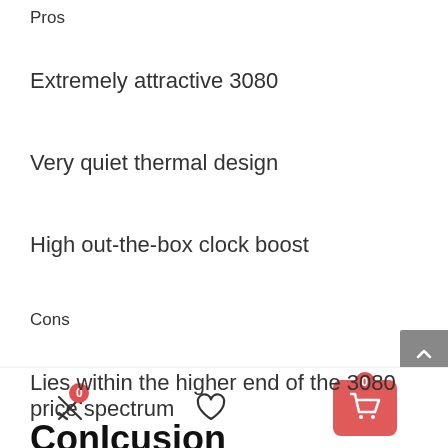Pros
Extremely attractive 3080
Very quiet thermal design
High out-the-box clock boost
Cons
Lies within the higher end of the 3080 price spectrum
ConIcusion